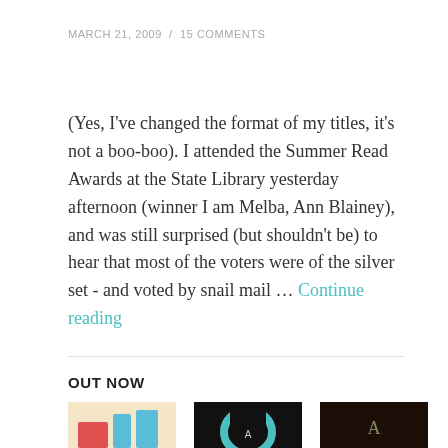MARCH 21, 2009 / 15 COMMENTS
(Yes, I've changed the format of my titles, it's not a boo-boo). I attended the Summer Read Awards at the State Library yesterday afternoon (winner I am Melba, Ann Blainey), and was still surprised (but shouldn't be) to hear that most of the voters were of the silver set - and voted by snail mail … Continue reading
OUT NOW
[Figure (photo): Three book cover images partially visible at the bottom of the page]
[Figure (photo): Dark cover with circular shape]
[Figure (photo): Very dark cover with letter A]